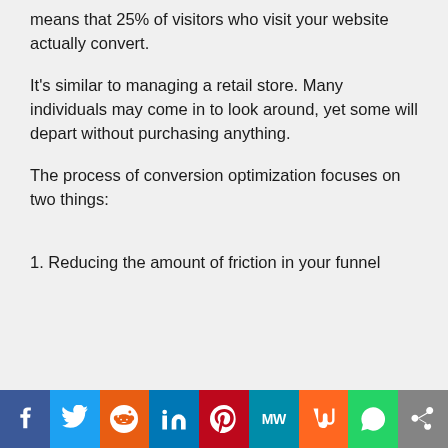means that 25% of visitors who visit your website actually convert.
It's similar to managing a retail store. Many individuals may come in to look around, yet some will depart without purchasing anything.
The process of conversion optimization focuses on two things:
1. Reducing the amount of friction in your funnel
[Figure (infographic): Social media sharing bar with icons: Facebook, Twitter, Reddit, LinkedIn, Pinterest, MixedWith, Mix, WhatsApp, Share]